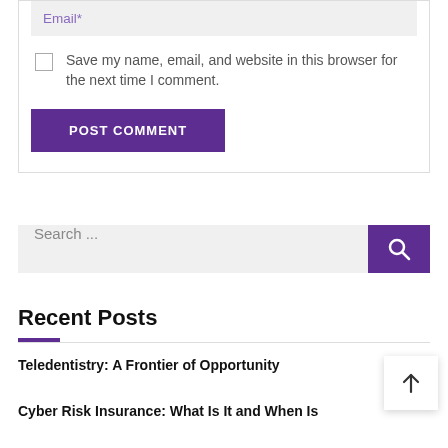Email*
Save my name, email, and website in this browser for the next time I comment.
POST COMMENT
Search ...
Recent Posts
Teledentistry: A Frontier of Opportunity
Cyber Risk Insurance: What Is It and When Is